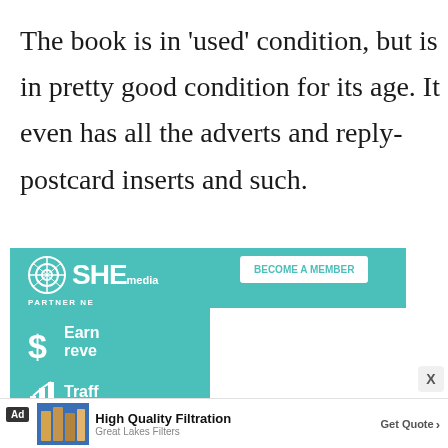The book is in 'used' condition, but is in pretty good condition for its age. It even has all the adverts and reply-postcard inserts and such.
[Figure (screenshot): SHE Media partner network advertisement banner with teal background showing logo, 'BECOME A MEMBER' button, 'PARTNER NE...' text, dollar sign icon with 'Earn... reve...' text, and bar chart icon with 'Traff...' text. A white panel overlaps partially.]
[Figure (screenshot): Bottom ad bar showing 'Ad' label, thumbnail of books, 'High Quality Filtration' title, 'Great Lakes Filters' subtitle, 'Get Quote >' CTA, and 'X' close button.]